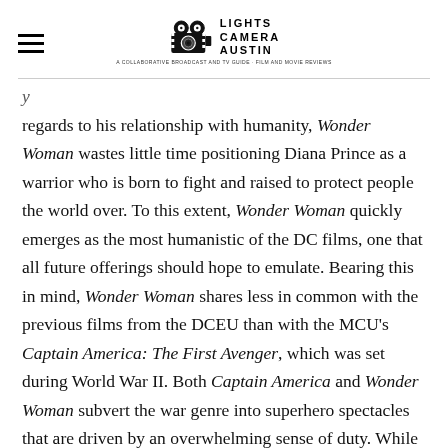LIGHTS CAMERA AUSTIN
regards to his relationship with humanity, Wonder Woman wastes little time positioning Diana Prince as a warrior who is born to fight and raised to protect people the world over. To this extent, Wonder Woman quickly emerges as the most humanistic of the DC films, one that all future offerings should hope to emulate. Bearing this in mind, Wonder Woman shares less in common with the previous films from the DCEU than with the MCU's Captain America: The First Avenger, which was set during World War II. Both Captain America and Wonder Woman subvert the war genre into superhero spectacles that are driven by an overwhelming sense of duty. While patriotism compels Steve Rodgers to undergo the transformation from physical weakling to super soldier, Princess Diana of Themyscira spends her youth training for the moment